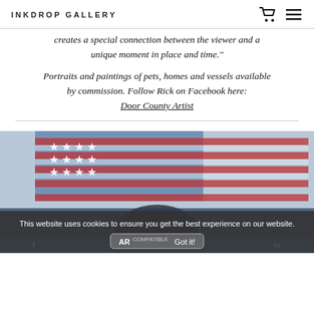INKDROP GALLERY
creates a special connection between the viewer and a unique moment in place and time."
Portraits and paintings of pets, homes and vessels available by commission. Follow Rick on Facebook here: Door County Artist
[Figure (photo): Painting of an American flag with stars, red and blue colors, with a figure below. Social media share bar at bottom.]
This website uses cookies to ensure you get the best experience on our website. Got it!